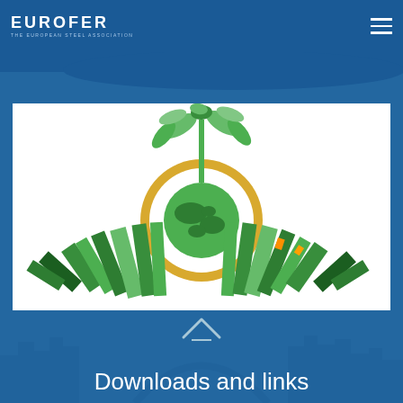EUROFER THE EUROPEAN STEEL ASSOCIATION
[Figure (illustration): Green sustainability illustration: a glowing light bulb shape with green city buildings arranged in a circular pattern around a globe, with green leaves/plant growing from the top. Represents eco-friendly/green industry concept.]
Downloads and links